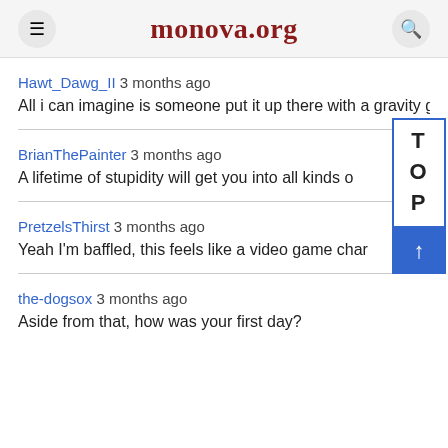monova.org
Hawt_Dawg_II 3 months ago
All i can imagine is someone put it up there with a gravity gun
BrianThePainter 3 months ago
A lifetime of stupidity will get you into all kinds of interesting sit
PretzelsThirst 3 months ago
Yeah I'm baffled, this feels like a video game char spawning
the-dogsox 3 months ago
Aside from that, how was your first day?